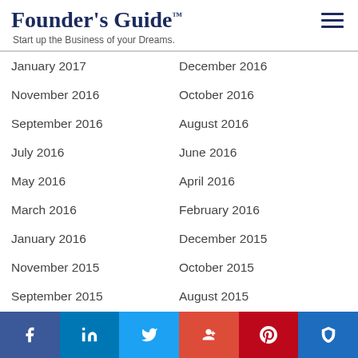Founder's Guide™
Start up the Business of your Dreams.
January 2017
December 2016
November 2016
October 2016
September 2016
August 2016
July 2016
June 2016
May 2016
April 2016
March 2016
February 2016
January 2016
December 2015
November 2015
October 2015
September 2015
August 2015
July 2015
June 2015